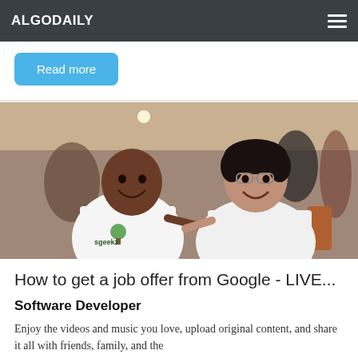ALGODAILY
Read more
[Figure (photo): Two young men smiling at the camera in a cafeteria setting. The man on the left wears a white t-shirt with a green tree logo that reads 'sgeekz'. The man on the right wears glasses and a white t-shirt. Both are pointing at each other and smiling.]
How to get a job offer from Google - LIVE...
Software Developer
Enjoy the videos and music you love, upload original content, and share it all with friends, family, and the